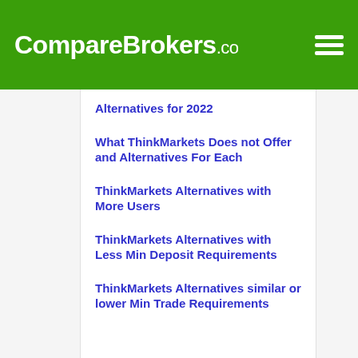CompareBrokers.co
Alternatives for 2022
What ThinkMarkets Does not Offer and Alternatives For Each
ThinkMarkets Alternatives with More Users
ThinkMarkets Alternatives with Less Min Deposit Requirements
ThinkMarkets Alternatives similar or lower Min Trade Requirements